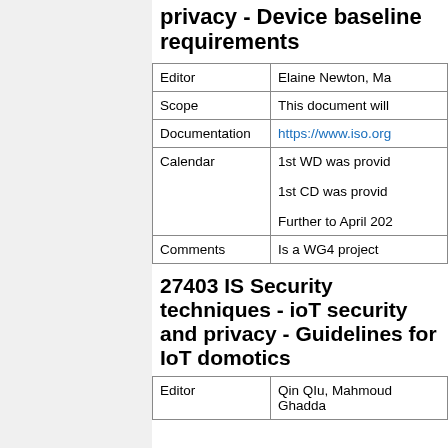privacy - Device baseline requirements
|  |  |
| --- | --- |
| Editor | Elaine Newton, Ma... |
| Scope | This document will... |
| Documentation | https://www.iso.org... |
| Calendar | 1st WD was provid...
1st CD was provid...
Further to April 202... |
| Comments | Is a WG4 project |
27403 IS Security techniques - IoT security and privacy - Guidelines for IoT domotics
|  |  |
| --- | --- |
| Editor | Qin QIu, Mahmoud Ghadda... |